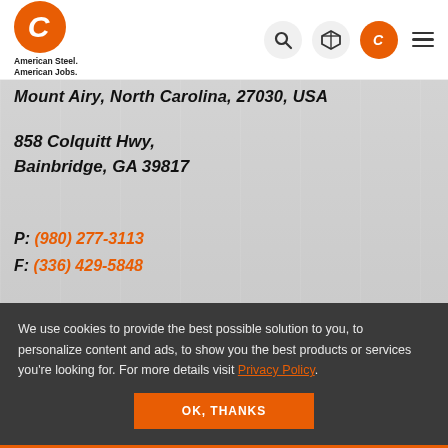[Figure (logo): Orrcon Steel / custom steel company logo: orange circle with italic C, tagline American Steel. American Jobs.]
Mount Airy, North Carolina, 27030, USA
858 Colquitt Hwy,
Bainbridge, GA 39817
P: (980) 277-3113
F: (336) 429-5848
We use cookies to provide the best possible solution to you, to personalize content and ads, to show you the best products or services you’re looking for. For more details visit Privacy Policy.
OK, THANKS
(980) 277-3113